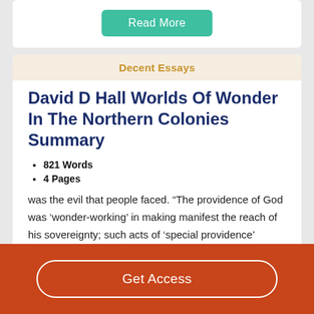[Figure (other): Read More button in teal/green color]
Decent Essays
David D Hall Worlds Of Wonder In The Northern Colonies Summary
821 Words
4 Pages
was the evil that people faced. “The providence of God was ‘wonder-working’ in making manifest the reach of his sovereignty; such acts of ‘special providence’ represented God’s clearer and more explicit than usual intervention into
[Figure (other): Get Access button on orange/rust colored bar]